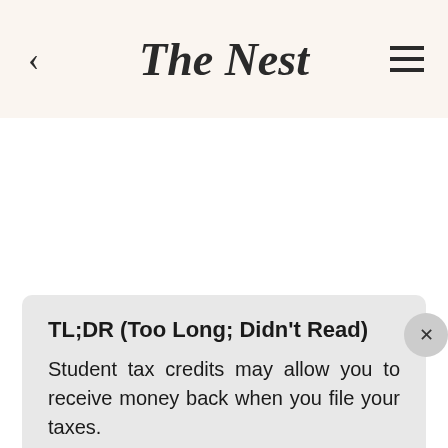The Nest
TL;DR (Too Long; Didn't Read)
Student tax credits may allow you to receive money back when you file your taxes.